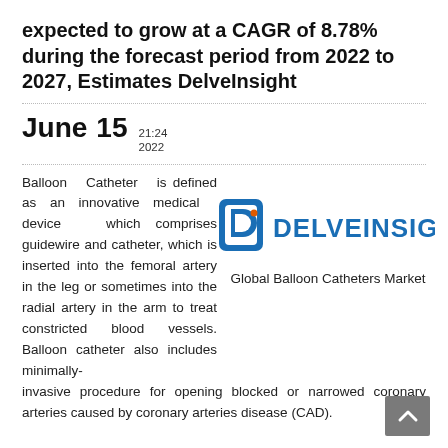expected to grow at a CAGR of 8.78% during the forecast period from 2022 to 2027, Estimates DelveInsight
June 15  21:24  2022
Balloon Catheter is defined as an innovative medical device which comprises guidewire and catheter, which is inserted into the femoral artery in the leg or sometimes into the radial artery in the arm to treat constricted blood vessels. Balloon catheter also includes minimally-invasive procedure for opening blocked or narrowed coronary arteries caused by coronary arteries disease (CAD).
[Figure (logo): DelveInsight company logo with stylized 'D' icon and text 'DELVEINSIGHT']
Global Balloon Catheters Market